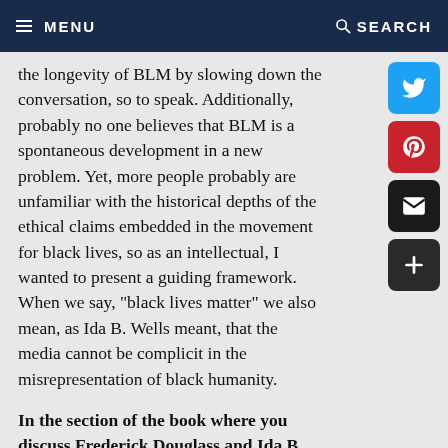MENU    SEARCH
the longevity of BLM by slowing down the conversation, so to speak. Additionally, probably no one believes that BLM is a spontaneous development in a new problem. Yet, more people probably are unfamiliar with the historical depths of the ethical claims embedded in the movement for black lives, so as an intellectual, I wanted to present a guiding framework. When we say, "black lives matter" we also mean, as Ida B. Wells meant, that the media cannot be complicit in the misrepresentation of black humanity.
In the section of the book where you discuss Frederick Douglass and Ida B. Wells, you mention that a recurring theme in the book is how blacks should "think of forgiveness and forbearance toward American institutions and whites." Was that a recurring theme you knew